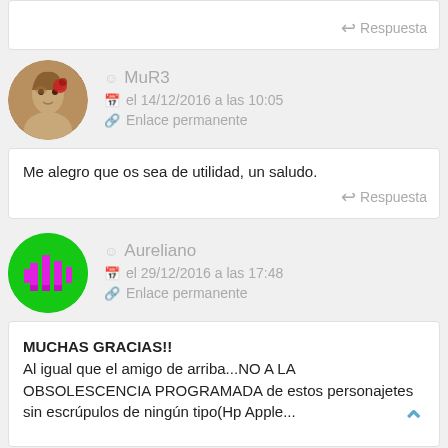Respuesta
MuR3
el 14/12/2016 a las 10:05
Enlace permanente
Me alegro que os sea de utilidad, un saludo.
Respuesta
Aureliano
el 29/12/2016 a las 17:48
Enlace permanente
MUCHAS GRACIAS!!
Al igual que el amigo de arriba...NO A LA OBSOLESCENCIA PROGRAMADA de estos personajetes sin escrúpulos de ningún tipo(Hp Apple...